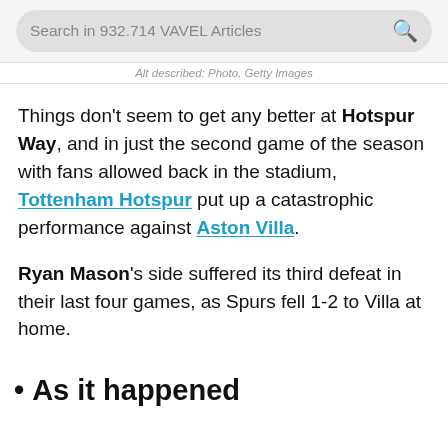Search in 932.714 VAVEL Articles
Alt described: Photo, Getty Images
Things don't seem to get any better at Hotspur Way, and in just the second game of the season with fans allowed back in the stadium, Tottenham Hotspur put up a catastrophic performance against Aston Villa.
Ryan Mason's side suffered its third defeat in their last four games, as Spurs fell 1-2 to Villa at home.
As it happened